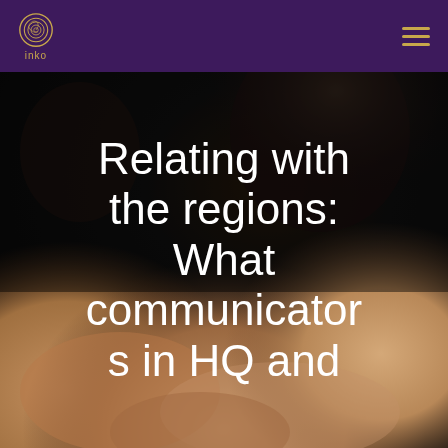inko
[Figure (photo): Close-up photo of multiple hands touching/overlapping, dark moody background with warm skin tones]
Relating with the regions: What communicators in HQ and